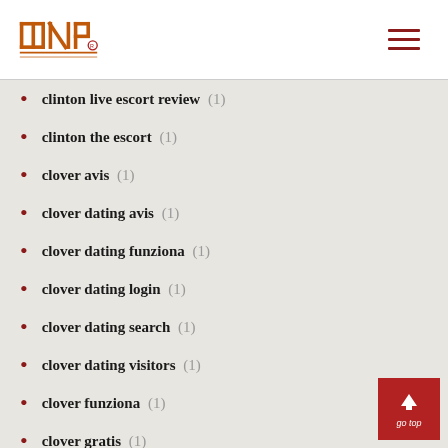INP logo and navigation
clinton live escort review (1)
clinton the escort (1)
clover avis (1)
clover dating avis (1)
clover dating funziona (1)
clover dating login (1)
clover dating search (1)
clover dating visitors (1)
clover funziona (1)
clover gratis (1)
clover mobile (1)